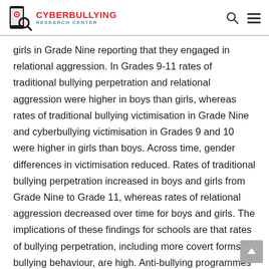CYBERBULLYING RESEARCH CENTER
girls in Grade Nine reporting that they engaged in relational aggression. In Grades 9-11 rates of traditional bullying perpetration and relational aggression were higher in boys than girls, whereas rates of traditional bullying victimisation in Grade Nine and cyberbullying victimisation in Grades 9 and 10 were higher in girls than boys. Across time, gender differences in victimisation reduced. Rates of traditional bullying perpetration increased in boys and girls from Grade Nine to Grade 11, whereas rates of relational aggression decreased over time for boys and girls. The implications of these findings for schools are that rates of bullying perpetration, including more covert forms of bullying behaviour, are high. Anti-bullying programmes in schools need to target all of the different subtypes of bullying.